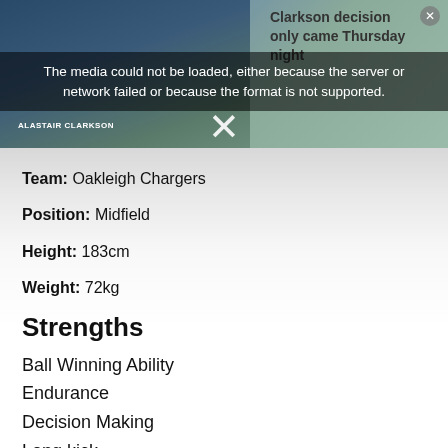[Figure (screenshot): Video player showing a media error overlay. Left portion shows a blurred video still with 'ALASTAIR CLARKSON' lower-third text and sports branding logos. Right portion shows text 'Clarkson decision only came Thursday night'. A media error message overlays: 'The media could not be loaded, either because the server or network failed or because the format is not supported.' A large X dismiss button is visible.]
Team: Oakleigh Chargers
Position: Midfield
Height: 183cm
Weight: 72kg
Strengths
Ball Winning Ability
Endurance
Decision Making
Long kick
Weaknesses